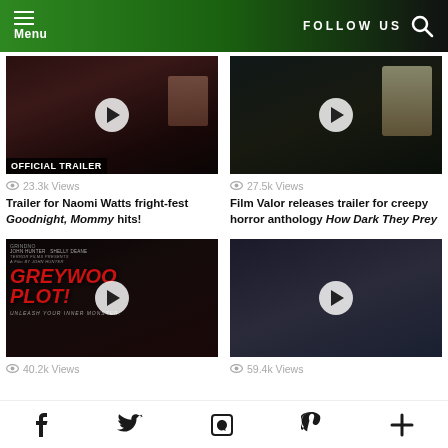Menu | FOLLOW US
[Figure (screenshot): Video thumbnail for Naomi Watts Goodnight Mommy trailer with OFFICIAL TRAILER label and play button]
23.3k Views
Trailer for Naomi Watts fright-fest Goodnight, Mommy hits!
[Figure (screenshot): Video thumbnail showing soldier scene with play button]
27.5k Views
Film Valor releases trailer for creepy horror anthology How Dark They Prey
[Figure (screenshot): Greywood Plot movie poster thumbnail with play button showing red title text and monster creature]
40.2k Views
[Figure (screenshot): Video thumbnail showing man in blue shirt with play button]
59.4k Views
f  Twitter  f  P  +